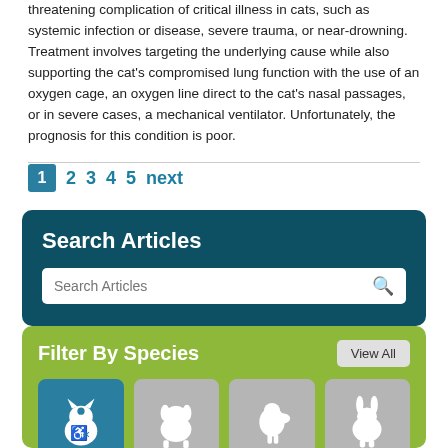threatening complication of critical illness in cats, such as systemic infection or disease, severe trauma, or near-drowning. Treatment involves targeting the underlying cause while also supporting the cat's compromised lung function with the use of an oxygen cage, an oxygen line direct to the cat's nasal passages, or in severe cases, a mechanical ventilator. Unfortunately, the prognosis for this condition is poor.
1  2  3  4  5  next
Search Articles
Search Articles
Filter By Species
View All
[Figure (illustration): Four species filter icons: active cat icon (teal background), dog icon, bird icon, rabbit icon (all on olive-green background)]